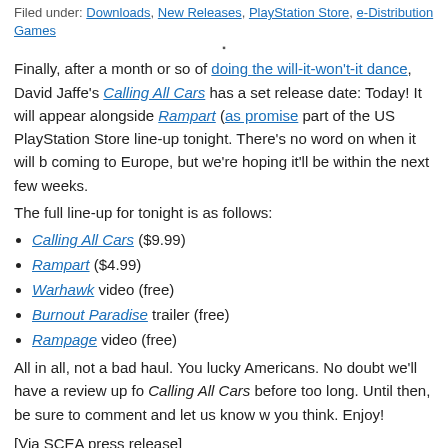Filed under: Downloads, New Releases, PlayStation Store, e-Distribution Games
Finally, after a month or so of doing the will-it-won't-it dance, David Jaffe's Calling All Cars has a set release date: Today! It will appear alongside Rampart (as promised) as part of the US PlayStation Store line-up tonight. There's no word on when it will be coming to Europe, but we're hoping it'll be within the next few weeks.
The full line-up for tonight is as follows:
Calling All Cars ($9.99)
Rampart ($4.99)
Warhawk video (free)
Burnout Paradise trailer (free)
Rampage video (free)
All in all, not a bad haul. You lucky Americans. No doubt we'll have a review up for Calling All Cars before too long. Until then, be sure to comment and let us know what you think. Enjoy!
[Via SCEA press release]
Permalink | Email this | Linking Blogs | Comments
Rampart this Thursday!